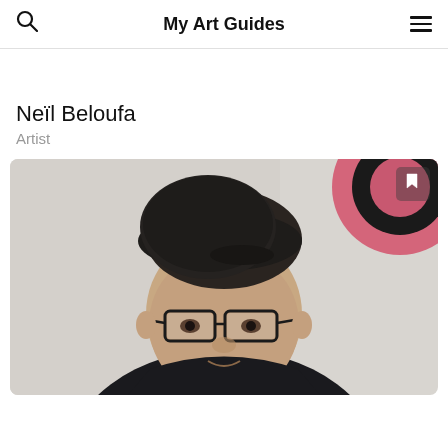My Art Guides
Neïl Beloufa
Artist
[Figure (photo): Portrait photo of Neïl Beloufa, a man wearing glasses and a dark beret-style hat, dressed in a dark coat with a patterned scarf, photographed outdoors against a light concrete wall with a pink and black circular artwork visible in the upper right background. A bookmark icon appears in the top-right corner of the image.]